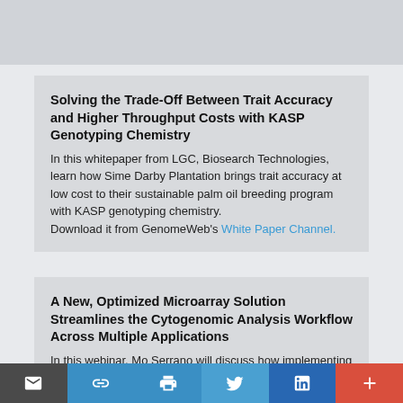[Figure (other): Gray banner at the top of the page]
Solving the Trade-Off Between Trait Accuracy and Higher Throughput Costs with KASP Genotyping Chemistry
In this whitepaper from LGC, Biosearch Technologies, learn how Sime Darby Plantation brings trait accuracy at low cost to their sustainable palm oil breeding program with KASP genotyping chemistry. Download it from GenomeWeb's White Paper Channel.
A New, Optimized Microarray Solution Streamlines the Cytogenomic Analysis Workflow Across Multiple Applications
In this webinar, Mo Serrano will discuss how implementing an array-based workflow enabled his CLIA-
Share bar with email, copy link, print, Twitter, LinkedIn, and more buttons